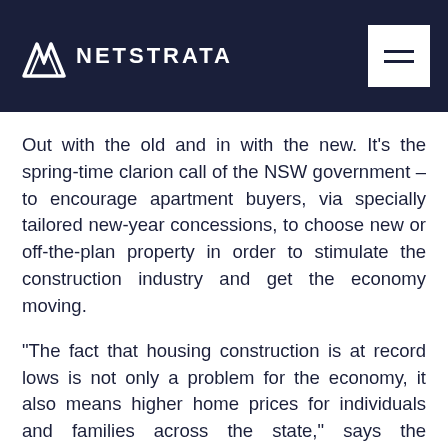NETSTRATA
Out with the old and in with the new. It’s the spring-time clarion call of the NSW government – to encourage apartment buyers, via specially tailored new-year concessions, to choose new or off-the-plan property in order to stimulate the construction industry and get the economy moving.
“The fact that housing construction is at record lows is not only a problem for the economy, it also means higher home prices for individuals and families across the state,” says the Treasurer, Mike Baird. “We want to make sure our incentives actually encourage activity, not push up home prices.”